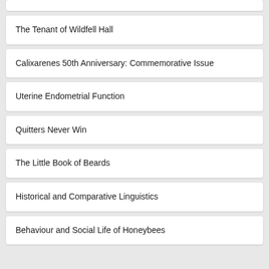The Tenant of Wildfell Hall
Calixarenes 50th Anniversary: Commemorative Issue
Uterine Endometrial Function
Quitters Never Win
The Little Book of Beards
Historical and Comparative Linguistics
Behaviour and Social Life of Honeybees